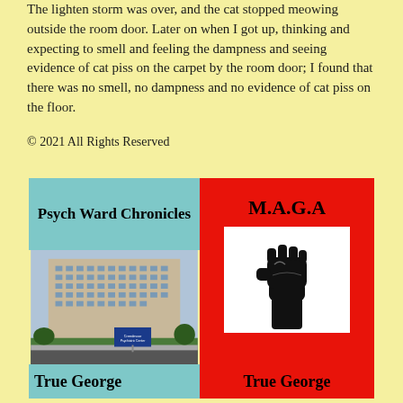The lighten storm was over, and the cat stopped meowing outside the room door. Later on when I got up, thinking and expecting to smell and feeling the dampness and seeing evidence of cat piss on the carpet by the room door; I found that there was no smell, no dampness and no evidence of cat piss on the floor.
© 2021 All Rights Reserved
[Figure (illustration): Two book covers side by side. Left: 'Psych Ward Chronicles' by True George with teal top/bottom and photo of a large institutional building (Creedmoor Psychiatric Center). Right: 'M.A.G.A' by True George on red background with a white box containing a raised black fist silhouette.]